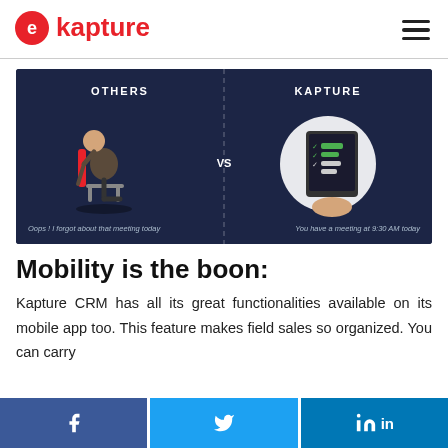Kapture
[Figure (infographic): Comparison infographic: OTHERS (man slumped in chair, caption: Oops! I forgot about that meeting today) VS KAPTURE (hand holding tablet with checklist, caption: You have a meeting at 9:30 AM today). Dark navy background.]
Mobility is the boon:
Kapture CRM has all its great functionalities available on its mobile app too. This feature makes field sales so organized. You can carry
Share on Facebook | Share on Twitter | Share on LinkedIn